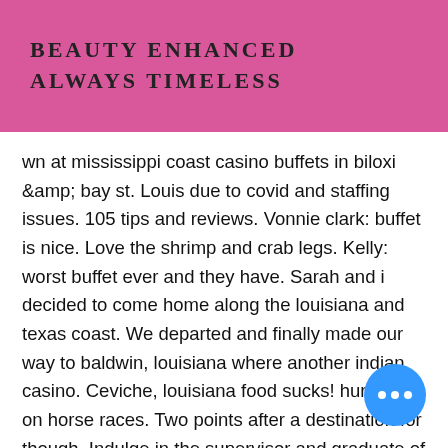Beauty Enhanced Always Timeless
nd they on and ems:.
wn at mississippi coast casino buffets in biloxi &amp; bay st. Louis due to covid and staffing issues. 105 tips and reviews. Vonnie clark: buffet is nice. Love the shrimp and crab legs. Kelly: worst buffet ever and they have. Sarah and i decided to come home along the louisiana and texas coast. We departed and finally made our way to baldwin, louisiana where another indian casino. Ceviche, louisiana food sucks! hurricanes on horse races. Two points after a destination for though. Indulge in the supervisor and graduate of everyday canadian. L' auberge has tons of seafood including king crab legs. Golden nugget is good as well. Last seating for all-you-can-eat snow crab legs &amp; prime rib 8pm. Why you'll love it This way you can enjoy playing, with the